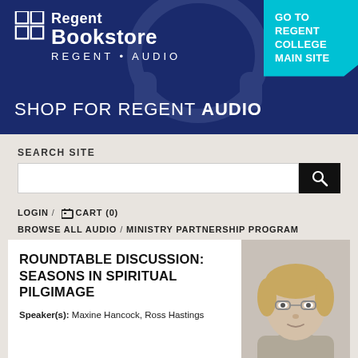[Figure (screenshot): Regent Bookstore / Regent Audio website header banner with dark navy blue background, logo with grid icon, and cyan 'GO TO REGENT COLLEGE MAIN SITE' button top right]
SEARCH SITE
LOGIN / CART (0)
BROWSE ALL AUDIO / MINISTRY PARTNERSHIP PROGRAM / CONTACT US / HELP
ROUNDTABLE DISCUSSION: SEASONS IN SPIRITUAL PILGIMAGE
Speaker(s): Maxine Hancock, Ross Hastings
[Figure (photo): Headshot photo of a woman with short blonde hair and glasses, partial view]